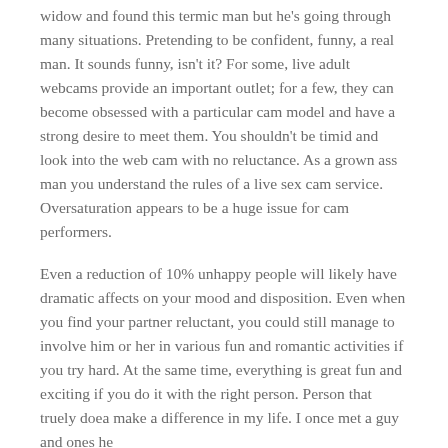widow and found this termic man but he's going through many situations. Pretending to be confident, funny, a real man. It sounds funny, isn't it? For some, live adult webcams provide an important outlet; for a few, they can become obsessed with a particular cam model and have a strong desire to meet them. You shouldn't be timid and look into the web cam with no reluctance. As a grown ass man you understand the rules of a live sex cam service. Oversaturation appears to be a huge issue for cam performers.
Even a reduction of 10% unhappy people will likely have dramatic affects on your mood and disposition. Even when you find your partner reluctant, you could still manage to involve him or her in various fun and romantic activities if you try hard. At the same time, everything is great fun and exciting if you do it with the right person. Person that truely doea make a difference in my life. I once met a guy and ones he